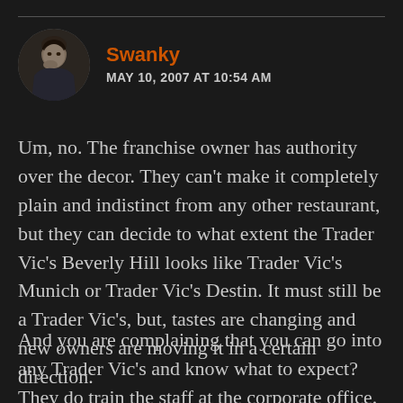[Figure (photo): Circular avatar photo of a man with his hand near his chin, dark background.]
Swanky
MAY 10, 2007 AT 10:54 AM
Um, no. The franchise owner has authority over the decor. They can't make it completely plain and indistinct from any other restaurant, but they can decide to what extent the Trader Vic's Beverly Hill looks like Trader Vic's Munich or Trader Vic's Destin. It must still be a Trader Vic's, but, tastes are changing and new owners are moving it in a certain direction.
And you are complaining that you can go into any Trader Vic's and know what to expect? They do train the staff at the corporate office. The menu is theirs. The quality of drinks is a damn good